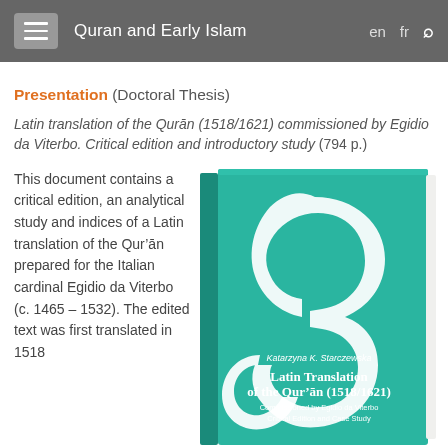Quran and Early Islam   en  fr  🔍
Presentation (Doctoral Thesis)
Latin translation of the Qur'ān (1518/1621) commissioned by Egidio da Viterbo. Critical edition and introductory study (794 p.)
This document contains a critical edition, an analytical study and indices of a Latin translation of the Qur'ān prepared for the Italian cardinal Egidio da Viterbo (c. 1465 – 1532). The edited text was first translated in 1518
[Figure (illustration): Book cover of 'Latin Translation of the Qur'an (1518/1621) Commissioned by Egidio da Viterbo, Critical Edition and Case Study' by Katarzyna K. Starczewska. Teal/turquoise cover with a large white Arabic calligraphic letter (ayn) design.]